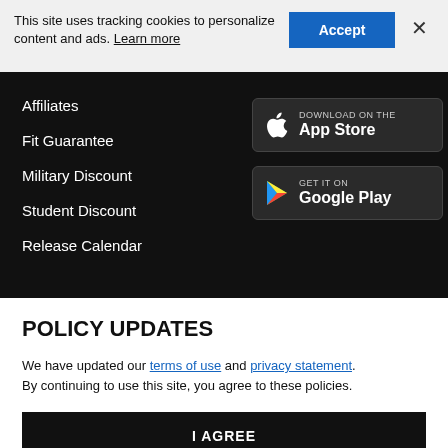This site uses tracking cookies to personalize content and ads. Learn more
Affiliates
Fit Guarantee
Military Discount
Student Discount
Release Calendar
[Figure (screenshot): Download on the App Store button]
[Figure (screenshot): Get it on Google Play button]
POLICY UPDATES
We have updated our terms of use and privacy statement. By continuing to use this site, you agree to these policies.
I AGREE